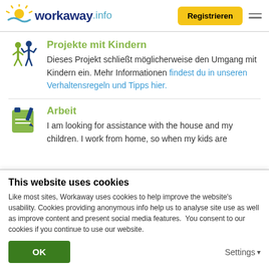workaway.info — Registrieren
Projekte mit Kindern
Dieses Projekt schließt möglicherweise den Umgang mit Kindern ein. Mehr Informationen findest du in unseren Verhaltensregeln und Tipps hier.
Arbeit
I am looking for assistance with the house and my children. I work from home, so when my kids are
This website uses cookies
Like most sites, Workaway uses cookies to help improve the website's usability. Cookies providing anonymous info help us to analyse site use as well as improve content and present social media features.  You consent to our cookies if you continue to use our website.
OK
Settings